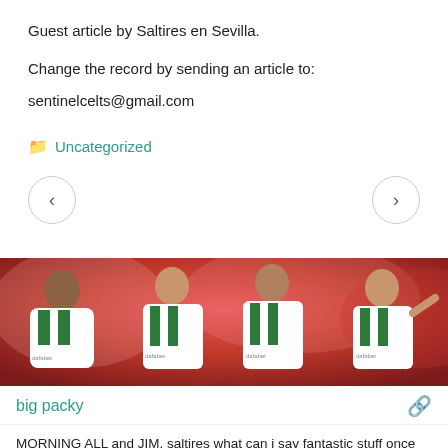Guest article by Saltires en Sevilla.
Change the record by sending an article to:
sentinelcelts@gmail.com
Uncategorized
[Figure (photo): Banner image showing Celtic football players in green and white jerseys with dafabet sponsor, set against a red smoky background]
big packy
MORNING ALL and JIM, saltires what can i say fantastic stuff once again,was at all those games against thems at ibrox, and im still celebrating 50 years later 👍👍